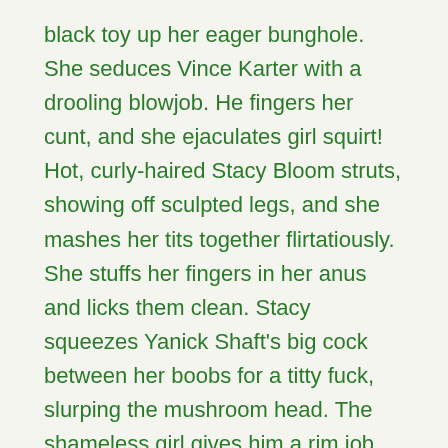black toy up her eager bunghole. She seduces Vince Karter with a drooling blowjob. He fingers her cunt, and she ejaculates girl squirt! Hot, curly-haired Stacy Bloom struts, showing off sculpted legs, and she mashes her tits together flirtatiously. She stuffs her fingers in her anus and licks them clean. Stacy squeezes Yanick Shaft's big cock between her boobs for a titty fuck, slurping the mushroom head. The shameless girl gives him a rim job, and she masturbates as he buttfucks her. Horny brunette Tina Kay fingers herself and licks up her delicious pussy juice. She gobbles David's balls, and they share passionate 69. His boner expands Tina's sphincter with every thrust..